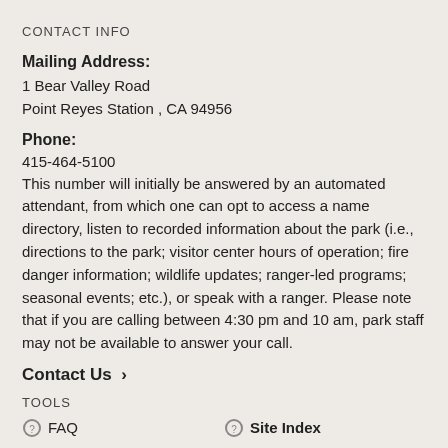CONTACT INFO
Mailing Address:
1 Bear Valley Road
Point Reyes Station , CA 94956
Phone:
415-464-5100
This number will initially be answered by an automated attendant, from which one can opt to access a name directory, listen to recorded information about the park (i.e., directions to the park; visitor center hours of operation; fire danger information; wildlife updates; ranger-led programs; seasonal events; etc.), or speak with a ranger. Please note that if you are calling between 4:30 pm and 10 am, park staff may not be available to answer your call.
Contact Us ›
TOOLS
FAQ
Site Index